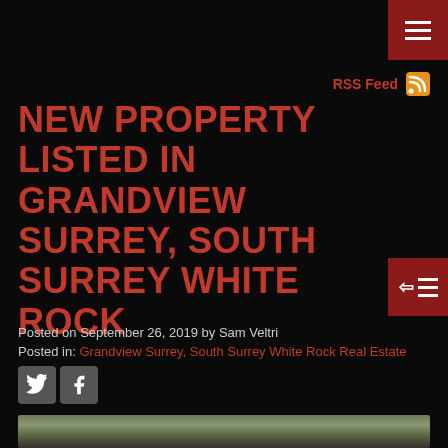Menu button (hamburger icon)
RSS Feed
NEW PROPERTY LISTED IN GRANDVIEW SURREY, SOUTH SURREY WHITE ROCK
Posted on September 26, 2019 by Sam Veltri
Posted in: Grandview Surrey, South Surrey White Rock Real Estate
[Figure (other): Twitter and Facebook social share icons]
[Figure (photo): Exterior photo of a residential property with trees and a building visible against a cloudy sky]